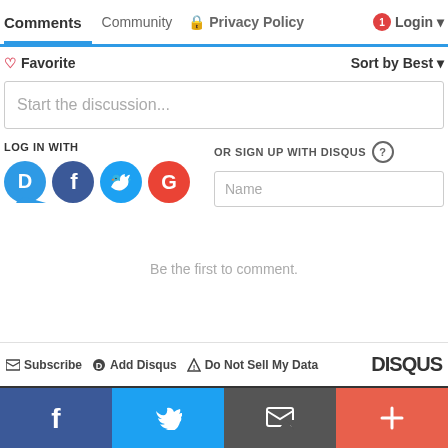Comments  Community  Privacy Policy  Login
Favorite  Sort by Best
Start the discussion...
LOG IN WITH
[Figure (infographic): Social login icons: Disqus (blue circle with D), Facebook (dark blue circle with f), Twitter (light blue circle with bird), Google (red circle with G)]
OR SIGN UP WITH DISQUS ?
Name
Be the first to comment.
Subscribe  Add Disqus  Do Not Sell My Data  DISQUS
[Figure (infographic): Social share bar at bottom: Facebook (dark blue), Twitter (light blue), Email/envelope (dark grey), More/plus (orange-red)]